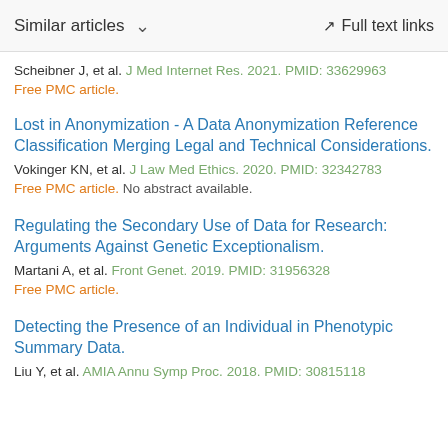Similar articles   Full text links
Scheibner J, et al. J Med Internet Res. 2021. PMID: 33629963
Free PMC article.
Lost in Anonymization - A Data Anonymization Reference Classification Merging Legal and Technical Considerations.
Vokinger KN, et al. J Law Med Ethics. 2020. PMID: 32342783
Free PMC article. No abstract available.
Regulating the Secondary Use of Data for Research: Arguments Against Genetic Exceptionalism.
Martani A, et al. Front Genet. 2019. PMID: 31956328
Free PMC article.
Detecting the Presence of an Individual in Phenotypic Summary Data.
Liu Y, et al. AMIA Annu Symp Proc. 2018. PMID: 30815118